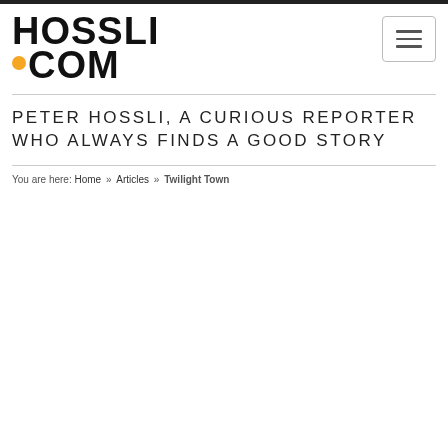[Figure (logo): Hossli.com logo with orange dot before .COM text]
PETER HOSSLI, A CURIOUS REPORTER WHO ALWAYS FINDS A GOOD STORY
You are here: Home » Articles » Twilight Town